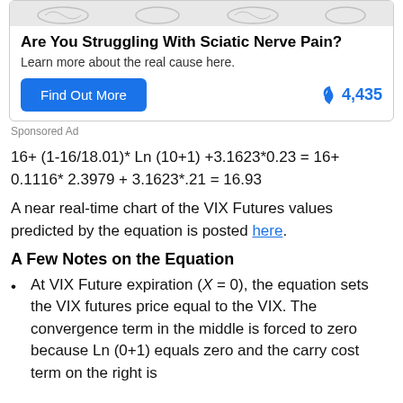[Figure (other): Sponsored ad box with illustration of feet/legs at top, title 'Are You Struggling With Sciatic Nerve Pain?', subtitle 'Learn more about the real cause here.', a blue 'Find Out More' button, and a flame icon with count 4,435]
Sponsored Ad
A near real-time chart of the VIX Futures values predicted by the equation is posted here.
A Few Notes on the Equation
At VIX Future expiration (X = 0), the equation sets the VIX futures price equal to the VIX. The convergence term in the middle is forced to zero because Ln (0+1) equals zero and the carry cost term on the right is